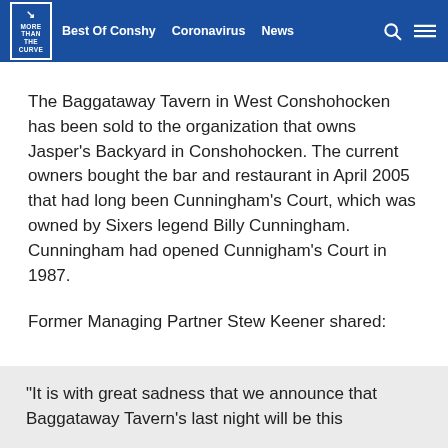MORE THAN THE CURVE | Best Of Conshy | Coronavirus | News
The Baggataway Tavern in West Conshohocken has been sold to the organization that owns Jasper's Backyard in Conshohocken. The current owners bought the bar and restaurant in April 2005 that had long been Cunningham's Court, which was owned by Sixers legend Billy Cunningham. Cunningham had opened Cunnigham's Court in 1987.
Former Managing Partner Stew Keener shared:
"It is with great sadness that we announce that Baggataway Tavern's last night will be this